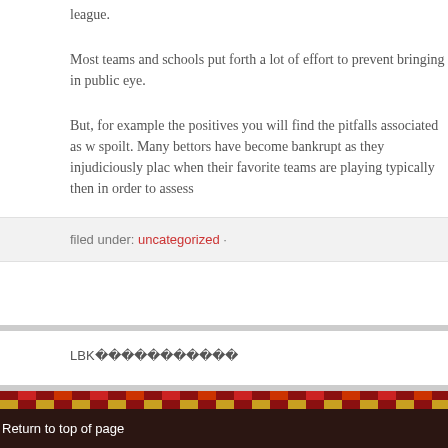league.
Most teams and schools put forth a lot of effort to prevent bringing in public eye.
But, for example the positives you will find the pitfalls associated as w spoilt. Many bettors have become bankrupt as they injudiciously plac when their favorite teams are playing typically then in order to assess
filed under: uncategorized ·
LBK           
Return to top of page